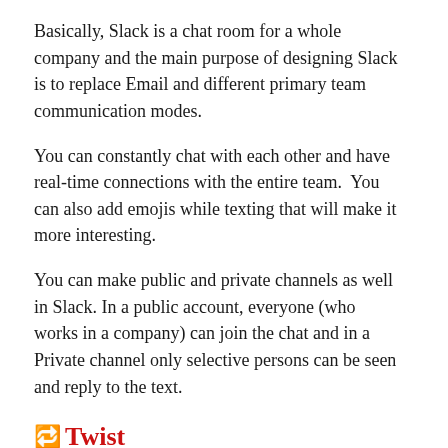Basically, Slack is a chat room for a whole company and the main purpose of designing Slack is to replace Email and different primary team communication modes.
You can constantly chat with each other and have real-time connections with the entire team.  You can also add emojis while texting that will make it more interesting.
You can make public and private channels as well in Slack. In a public account, everyone (who works in a company) can join the chat and in a Private channel only selective persons can be seen and reply to the text.
🔁Twist
Twist app is on the second number of our list of top team communication apps for smartphones.